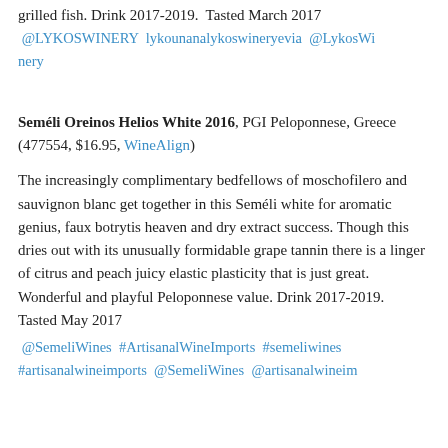grilled fish. Drink 2017-2019.  Tasted March 2017
@LYKOSWINERY  lykounanalykoswineryevia  @LykosWinery
Seméli Oreinos Helios White 2016, PGI Peloponnese, Greece (477554, $16.95, WineAlign)
The increasingly complimentary bedfellows of moschofilero and sauvignon blanc get together in this Seméli white for aromatic genius, faux botrytis heaven and dry extract success. Though this dries out with its unusually formidable grape tannin there is a linger of citrus and peach juicy elastic plasticity that is just great. Wonderful and playful Peloponnese value. Drink 2017-2019.  Tasted May 2017
@SemeliWines  #ArtisanalWineImports  #semeliwines  #artisanalwineimports  @SemeliWines  @artisanalwineim